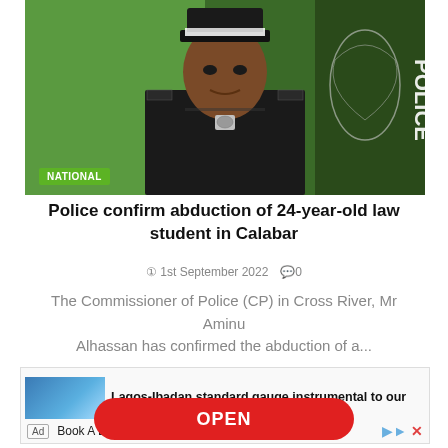[Figure (photo): Portrait photo of a Nigerian police officer in black uniform with white-checked cap, in front of Nigerian Police force emblem/flag. A 'NATIONAL' green badge is overlaid at bottom-left.]
Police confirm abduction of 24-year-old law student in Calabar
1st September 2022  0
The Commissioner of Police (CP) in Cross River, Mr Aminu Alhassan has confirmed the abduction of a...
Lagos-Ibadan standard gauge instrumental to our
Book A Demo Today
OPEN